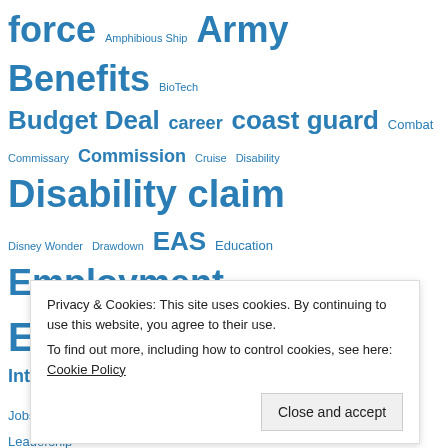[Figure (other): Tag cloud of military/government topics in varying font sizes, all in blue. Tags include: force, Amphibious Ship, Army, Benefits, BioTech, Budget Deal, career, coast guard, Combat, Commissary, Commission, Cruise, Disability, Disability claim, Disney Wonder, Drawdown, EAS, Education, Employment, Enlisted, Excelsior Medical, GI Bill, IAVA, Iraq, Job Interview, Jobs, Job Search, Job Seeking, Leadership, Marine Corps, Marshall Business School, MedTech, Medtech]
Privacy & Cookies: This site uses cookies. By continuing to use this website, you agree to their use. To find out more, including how to control cookies, see here: Cookie Policy